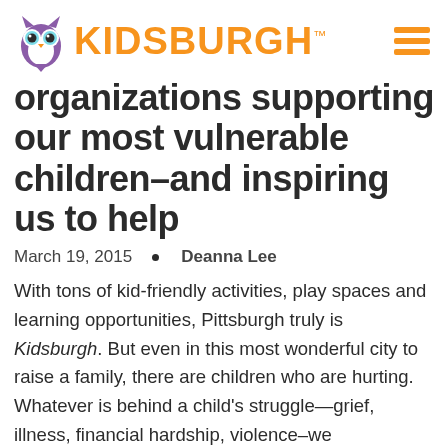KIDSBURGH™
organizations supporting our most vulnerable children–and inspiring us to help
March 19, 2015  •  Deanna Lee
With tons of kid-friendly activities, play spaces and learning opportunities, Pittsburgh truly is Kidsburgh. But even in this most wonderful city to raise a family, there are children who are hurting. Whatever is behind a child's struggle—grief, illness, financial hardship, violence–we